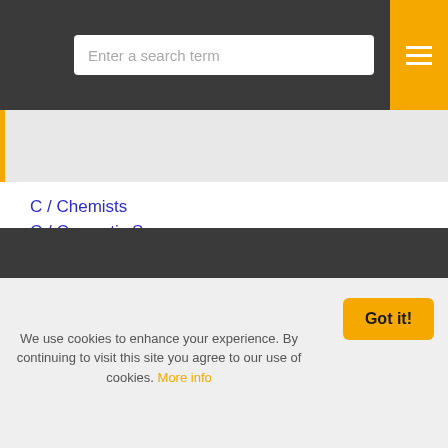Enter a search term
C / Chemists
C / Cosmetic Surgery
D / Dentists Abroad
D / Dentists
D / Doctors
H / Healthcare
H / Hospitals
M / Medical & Dental Schools
O / Orthodontics
We use cookies to enhance your experience. By continuing to visit this site you agree to our use of cookies. More info